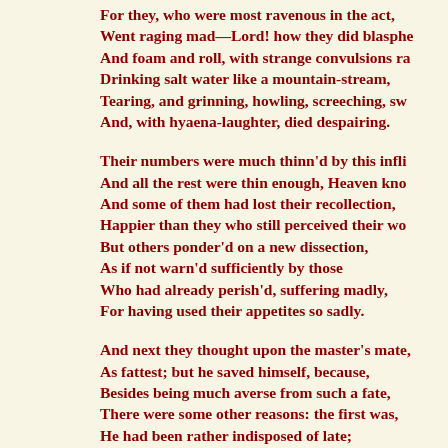For they, who were most ravenous in the act,
Went raging mad—Lord! how they did blasphe
And foam and roll, with strange convulsions ra
Drinking salt water like a mountain-stream,
Tearing, and grinning, howling, screeching, sw
And, with hyaena-laughter, died despairing.

Their numbers were much thinn'd by this infli
And all the rest were thin enough, Heaven kno
And some of them had lost their recollection,
Happier than they who still perceived their wo
But others ponder'd on a new dissection,
As if not warn'd sufficiently by those
Who had already perish'd, suffering madly,
For having used their appetites so sadly.

And next they thought upon the master's mate,
As fattest; but he saved himself, because,
Besides being much averse from such a fate,
There were some other reasons: the first was,
He had been rather indisposed of late;
And that which chiefly proved his saving claus
Was a small present made to him at Cadiz,
By general subscription of the ladies.